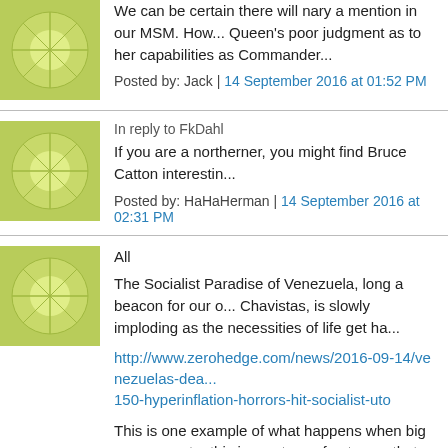We can be certain there will nary a mention in our MSM. How... Queen's poor judgment as to her capabilities as Commander...
Posted by: Jack | 14 September 2016 at 01:52 PM
In reply to FkDahl
If you are a northerner, you might find Bruce Catton interestin...
Posted by: HaHaHerman | 14 September 2016 at 02:31 PM
All
The Socialist Paradise of Venezuela, long a beacon for our o... Chavistas, is slowly imploding as the necessities of life get ha...
http://www.zerohedge.com/news/2016-09-14/venezuelas-dea... 150-hyperinflation-horrors-hit-socialist-uto
This is one example of what happens when big government ... this is one type of outcome that those who promote infinite sp... their sovereign currency as costless will never note. They will... country specific. Note that hyperinflation is only one type of o... untrameled credit expansion could also be depression and o... History and literature provide great insight into the folly of soc...